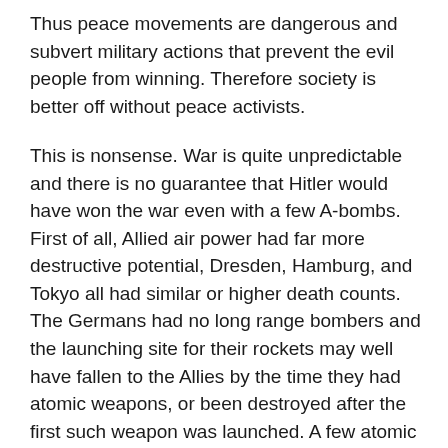Thus peace movements are dangerous and subvert military actions that prevent the evil people from winning. Therefore society is better off without peace activists.
This is nonsense. War is quite unpredictable and there is no guarantee that Hitler would have won the war even with a few A-bombs. First of all, Allied air power had far more destructive potential, Dresden, Hamburg, and Tokyo all had similar or higher death counts. The Germans had no long range bombers and the launching site for their rockets may well have fallen to the Allies by the time they had atomic weapons, or been destroyed after the first such weapon was launched. A few atomic weapons would not have made a difference on the battlefield. They would have served only as terror weapons and there is no guarantee the Allies would have succumbed to that. The English didn't during the air raids on London. The Germans didn't yield after Dresden